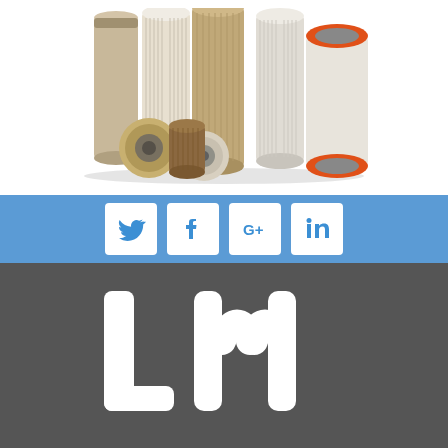[Figure (photo): Group of industrial air filters of various sizes and shapes, including cylindrical and round filters with orange, beige, and brown colors, on white background]
[Figure (infographic): Social media icon bar with Twitter, Facebook, Google+, and LinkedIn icons on a blue background]
[Figure (logo): LM company logo in white on dark gray background, stylized letters L and M]